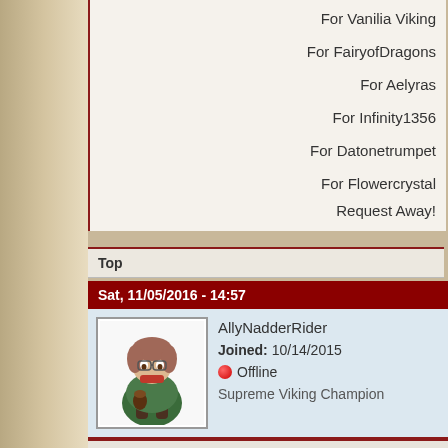For Vanilia Viking
For FairyofDragons
For Aelyras
For Infinity1356
For Datonetrumpet
For Flowercrystal
Request Away!
Top
Sat, 11/05/2016 - 14:57
[Figure (illustration): Avatar of AllyNadderRider showing an anime-style chibi character with brownish hair wearing a green outfit]
AllyNadderRider
Joined: 10/14/2015
Offline
Supreme Viking Champion
//i know we've made it this far kid\\